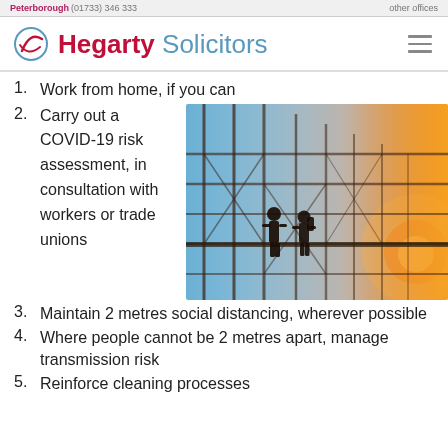Peterborough (01733) 346 333 | other offices
[Figure (logo): Hegarty Solicitors logo with circular swoosh icon and text 'Hegarty Solicitors']
Work from home, if you can
Carry out a COVID-19 risk assessment, in consultation with workers or trade unions
[Figure (photo): Silhouette of two construction workers standing on scaffolding against a sunset sky with orange and blue hues]
Maintain 2 metres social distancing, wherever possible
Where people cannot be 2 metres apart, manage transmission risk
Reinforce cleaning processes